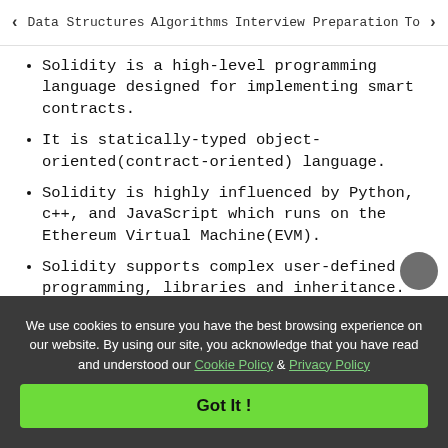< Data Structures   Algorithms   Interview Preparation   To>
Solidity is a high-level programming language designed for implementing smart contracts.
It is statically-typed object-oriented(contract-oriented) language.
Solidity is highly influenced by Python, c++, and JavaScript which runs on the Ethereum Virtual Machine(EVM).
Solidity supports complex user-defined programming, libraries and inheritance.
Solidity is primary language for blockchains running platforms.
We use cookies to ensure you have the best browsing experience on our website. By using our site, you acknowledge that you have read and understood our Cookie Policy & Privacy Policy
Got It !